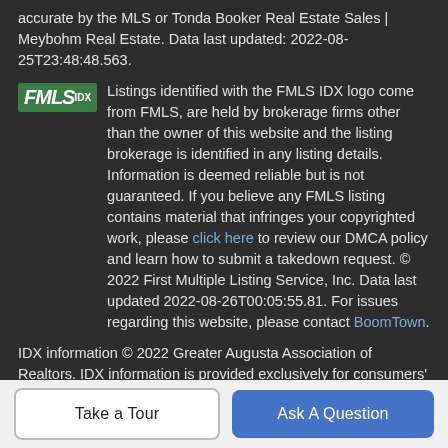accurate by the MLS or Tonda Booker Real Estate Sales | Meybohm Real Estate. Data last updated: 2022-08-25T23:48:48.563.
[Figure (logo): FMLS IDX logo — green rectangle with white italic bold FMLS text and IDX superscript]
Listings identified with the FMLS IDX logo come from FMLS, are held by brokerage firms other than the owner of this website and the listing brokerage is identified in any listing details. Information is deemed reliable but is not guaranteed. If you believe any FMLS listing contains material that infringes your copyrighted work, please click here to review our DMCA policy and learn how to submit a takedown request. © 2022 First Multiple Listing Service, Inc. Data last updated 2022-08-26T00:05:55.81. For issues regarding this website, please contact BoomTown.
IDX information © 2022 Greater Augusta Association of Realtors. IDX information is provided exclusively for consumers' personal, non-commercial use and may not be used for any purpose other than to identify prospective properties consumers may be
Take a Tour
Ask A Question